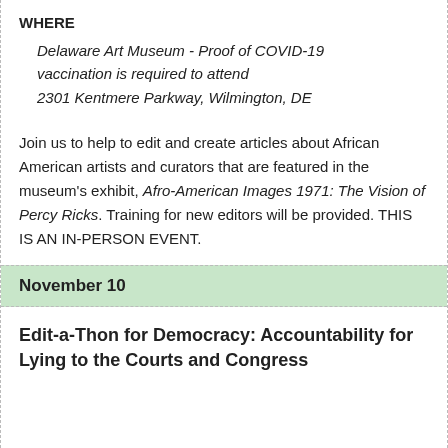WHERE
Delaware Art Museum - Proof of COVID-19 vaccination is required to attend
2301 Kentmere Parkway, Wilmington, DE
Join us to help to edit and create articles about African American artists and curators that are featured in the museum's exhibit, Afro-American Images 1971: The Vision of Percy Ricks. Training for new editors will be provided. THIS IS AN IN-PERSON EVENT.
November 10
Edit-a-Thon for Democracy: Accountability for Lying to the Courts and Congress